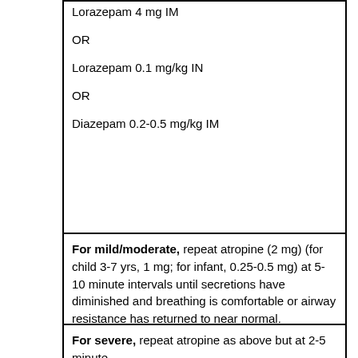Lorazepam 4 mg IM

OR

Lorazepam 0.1 mg/kg IN

OR

Diazepam 0.2-0.5 mg/kg IM
For mild/moderate, repeat atropine (2 mg) (for child 3-7 yrs, 1 mg; for infant, 0.25-0.5 mg) at 5-10 minute intervals until secretions have diminished and breathing is comfortable or airway resistance has returned to near normal.
For severe, repeat atropine as above but at 2-5 minute